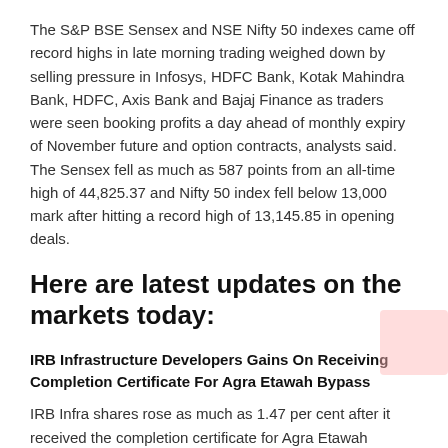The S&P BSE Sensex and NSE Nifty 50 indexes came off record highs in late morning trading weighed down by selling pressure in Infosys, HDFC Bank, Kotak Mahindra Bank, HDFC, Axis Bank and Bajaj Finance as traders were seen booking profits a day ahead of monthly expiry of November future and option contracts, analysts said. The Sensex fell as much as 587 points from an all-time high of 44,825.37 and Nifty 50 index fell below 13,000 mark after hitting a record high of 13,145.85 in opening deals.
Here are latest updates on the markets today:
IRB Infrastructure Developers Gains On Receiving Completion Certificate For Agra Etawah Bypass
IRB Infra shares rose as much as 1.47 per cent after it received the completion certificate for Agra Etawah Bypass build operate transfer (BOT) project.
The Agra Etawah BOT project implemented by AE Tollway Limited (SPV) which is a company of IRB Infrastructure. To...